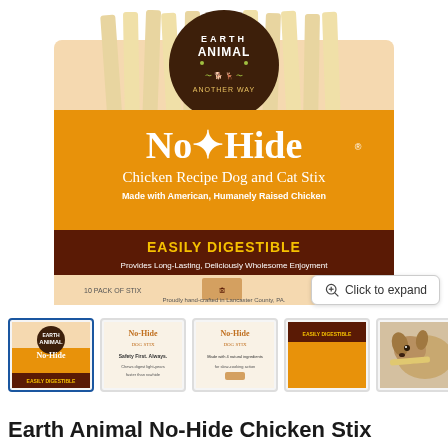[Figure (photo): Earth Animal No-Hide Chicken Recipe Dog and Cat Stix product package. Orange packaging with brown Earth Animal logo circle at top, No-Hide branding in white serif font, 'Chicken Recipe Dog and Cat Stix' subtitle, 'Made with American, Humanely Raised Chicken', dark brown band with 'EASILY DIGESTIBLE' in gold text. Pale tan sticks visible above package.]
[Figure (screenshot): Row of 5 product thumbnail images: (1) main package front view - selected/active, (2) No-Hide informational panel - Safety First text, (3) No-Hide ingredients panel, (4) close-up of package orange band, (5) small dog chewing a stick]
Earth Animal No-Hide Chicken Stix